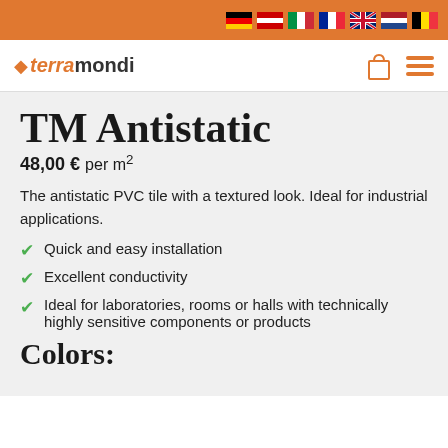terramondi — navigation with flag icons
TM Antistatic
48,00 € per m²
The antistatic PVC tile with a textured look. Ideal for industrial applications.
Quick and easy installation
Excellent conductivity
Ideal for laboratories, rooms or halls with technically highly sensitive components or products
Colors: